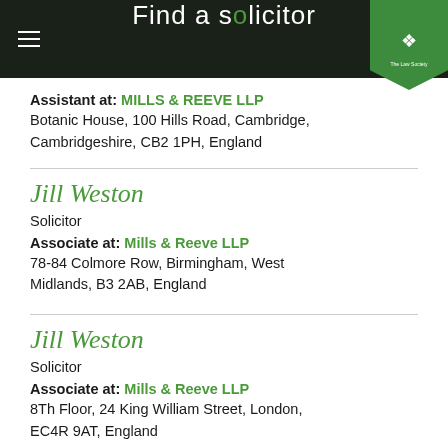Find a solicitor
Assistant at: MILLS & REEVE LLP
Botanic House, 100 Hills Road, Cambridge, Cambridgeshire, CB2 1PH, England
Jill Weston
Solicitor
Associate at: Mills & Reeve LLP
78-84 Colmore Row, Birmingham, West Midlands, B3 2AB, England
Jill Weston
Solicitor
Associate at: Mills & Reeve LLP
8Th Floor, 24 King William Street, London, EC4R 9AT, England